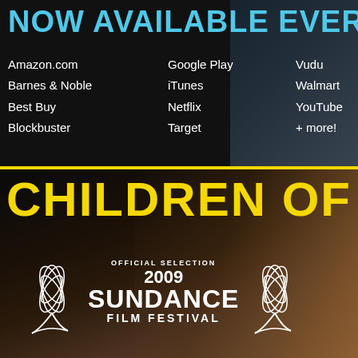NOW AVAILABLE EVERYW
Amazon.com
Barnes & Noble
Best Buy
Blockbuster
Google Play
iTunes
Netflix
Target
Vudu
Walmart
YouTube
+ more!
CHILDREN OF IN
[Figure (logo): Official Selection 2009 Sundance Film Festival laurel badge in white]